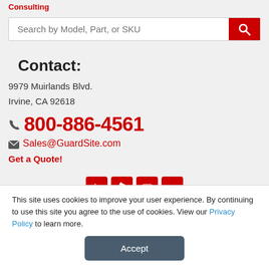Consulting
Search by Model, Part, or SKU
Contact:
9979 Muirlands Blvd.
Irvine, CA 92618
800-886-4561
Sales@GuardSite.com
Get a Quote!
[Figure (other): Social media icons: Facebook, Twitter, YouTube, LinkedIn]
This site uses cookies to improve your user experience. By continuing to use this site you agree to the use of cookies. View our Privacy Policy to learn more.
Accept